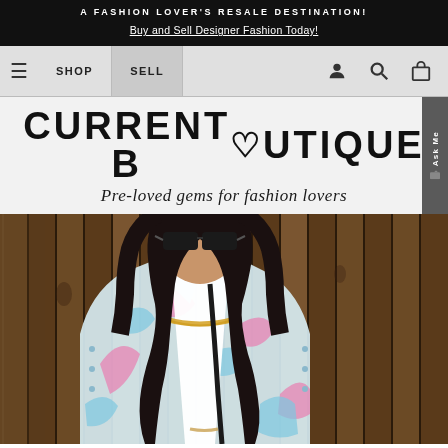A FASHION LOVER'S RESALE DESTINATION! Buy and Sell Designer Fashion Today!
☰  SHOP  SELL  [user icon]  [search icon]  [bag icon]
[Figure (logo): Current Boutique logo with heart in place of letter O, tagline: Pre-loved gems for fashion lovers]
[Figure (photo): Woman with dark hair wearing sunglasses, a tie-dye denim jacket in pink and blue, white top, gold chain necklace, standing in front of a wooden fence]
Ask Me